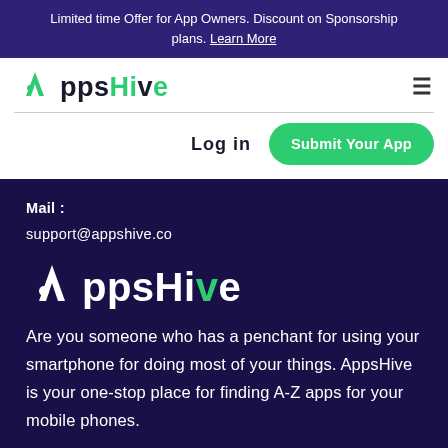Limited time Offer for App Owners. Discount on Sponsorship plans. Learn More
[Figure (logo): AppsHive logo in dark color with green chevron A icon]
Log in
Submit Your App
Mail : support@appshive.co
[Figure (logo): AppsHive logo in white with green chevron A icon on dark background]
Are you someone who has a penchant for using your smartphone for doing most of your things. AppsHive is your one-stop place for finding A-Z apps for your mobile phones.